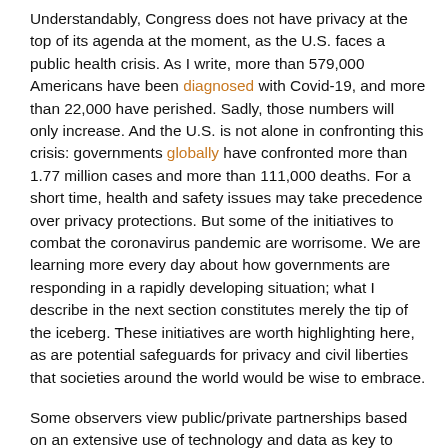Understandably, Congress does not have privacy at the top of its agenda at the moment, as the U.S. faces a public health crisis. As I write, more than 579,000 Americans have been diagnosed with Covid-19, and more than 22,000 have perished. Sadly, those numbers will only increase. And the U.S. is not alone in confronting this crisis: governments globally have confronted more than 1.77 million cases and more than 111,000 deaths. For a short time, health and safety issues may take precedence over privacy protections. But some of the initiatives to combat the coronavirus pandemic are worrisome. We are learning more every day about how governments are responding in a rapidly developing situation; what I describe in the next section constitutes merely the tip of the iceberg. These initiatives are worth highlighting here, as are potential safeguards for privacy and civil liberties that societies around the world would be wise to embrace.
Some observers view public/private partnerships based on an extensive use of technology and data as key to fighting the spread of Covid-19. For example, Professor Jane Bambauer calls for contact tracing and alerts "to be done in an automated way with the help of mobile service providers' geolocation data." She argues that privacy is merely "an instrumental right" that "is meant to achieve certain social goals in fairness, safety and...